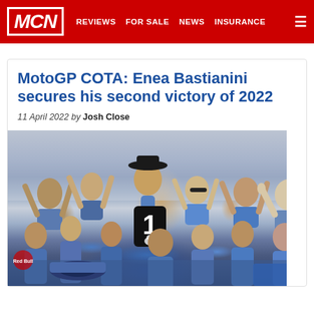MCN | REVIEWS | FOR SALE | NEWS | INSURANCE
MotoGP COTA: Enea Bastianini secures his second victory of 2022
11 April 2022 by Josh Close
[Figure (photo): Enea Bastianini celebrating with his team at COTA MotoGP 2022, holding a Michelin number 1 board, cowboy hat on, surrounded by cheering team members in blue shirts]